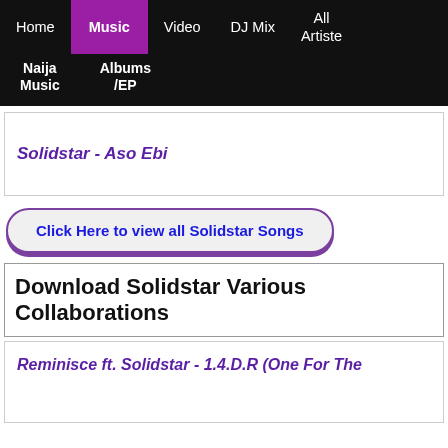Home | Music | Video | DJ Mix | All Artiste | Naija Music | Albums/EP
Solidstar - Aso Ebi
Click Here to view all Solidstar Songs
Download Solidstar Various Collaborations
Reminisce ft. Solidstar - 1.4.D.R (One For The